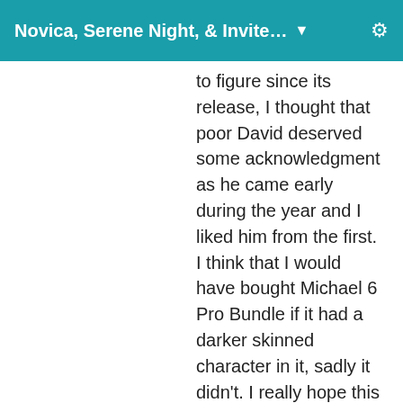Novica, Serene Night, & Invite…
to figure since its release, I thought that poor David deserved some acknowledgment as he came early during the year and I liked him from the first. I think that I would have bought Michael 6 Pro Bundle if it had a darker skinned character in it, sadly it didn't. I really hope this trend changes in the future and we will see more variety is in the DO bundles and G2 characters. Olympia 6 has Nidale but her official promos were a bit misleading.